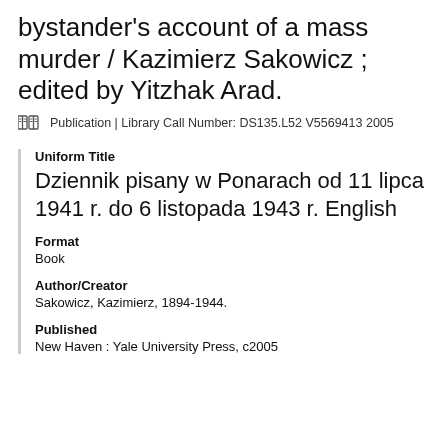bystander's account of a mass murder / Kazimierz Sakowicz ; edited by Yitzhak Arad.
Publication | Library Call Number: DS135.L52 V5569413 2005
Uniform Title
Dziennik pisany w Ponarach od 11 lipca 1941 r. do 6 listopada 1943 r. English
Format
Book
Author/Creator
Sakowicz, Kazimierz, 1894-1944.
Published
New Haven : Yale University Press, c2005